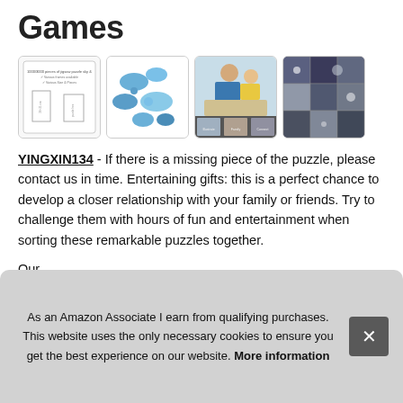Games
[Figure (photo): Four thumbnail product images of a puzzle game: first shows product info/dimensions diagram, second shows blue puzzle pieces scattered, third shows a father and child assembling a puzzle with smaller lifestyle images below, fourth shows a close-up of assembled puzzle pieces in blue/white/grey tones.]
YINGXIN134 - If there is a missing piece of the puzzle, please contact us in time. Entertaining gifts: this is a perfect chance to develop a closer relationship with your family or friends. Try to challenge them with hours of fun and entertainment when sorting these remarkable puzzles together.
Our [partially obscured] 24 h[ours] are [partially obscured] gam[es]
As an Amazon Associate I earn from qualifying purchases. This website uses the only necessary cookies to ensure you get the best experience on our website. More information